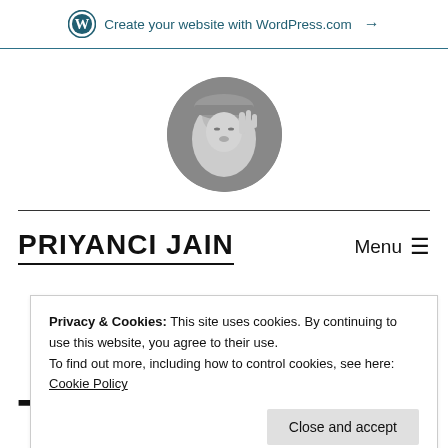Create your website with WordPress.com →
[Figure (photo): Circular black-and-white profile photo of a young woman wearing a cap, making a gesture with her hand near her face.]
PRIYANCI JAIN
Menu ☰
Privacy & Cookies: This site uses cookies. By continuing to use this website, you agree to their use.
To find out more, including how to control cookies, see here: Cookie Policy
Close and accept
Tag: